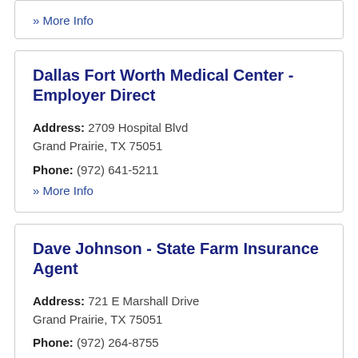» More Info
Dallas Fort Worth Medical Center - Employer Direct
Address: 2709 Hospital Blvd
Grand Prairie, TX 75051
Phone: (972) 641-5211
» More Info
Dave Johnson - State Farm Insurance Agent
Address: 721 E Marshall Drive
Grand Prairie, TX 75051
Phone: (972) 264-8755